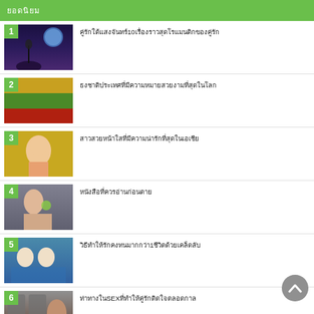ยอดนิยม
คู่รักใต้แสงจันทร์10เรื่องราวสุดโรแมนติกของคู่รัก
ธงชาติประเทศที่มีความหมายสวยงามที่สุดในโลก
สาวสวยหน้าใสที่มีความน่ารักที่สุดในเอเชีย
หนังสือที่ควรอ่านก่อนตาย
วิธีทำให้รักคงทนมากกว่า1ชีวิตด้วยเคล็ดลับ
ท่าทางในSEXที่ทำให้คู่รักติดใจตลอดกาล